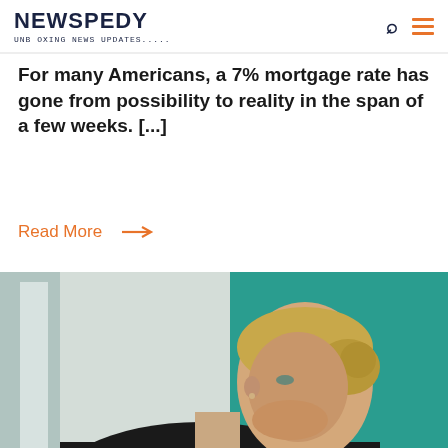NEWSPEDY — Unboxing news updates.....
For many Americans, a 7% mortgage rate has gone from possibility to reality in the span of a few weeks. [...]
Read More →
[Figure (photo): A blonde woman with an updo hairstyle wearing a black turtleneck, photographed from the side in a room with teal/green wall background and natural light from a window.]